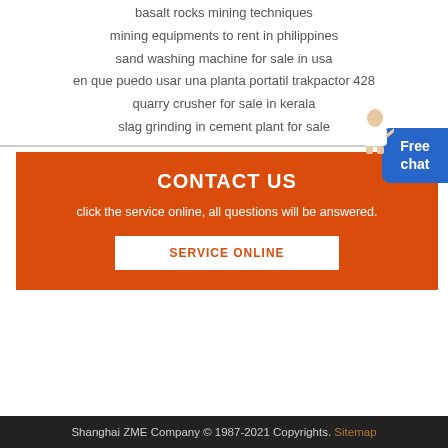basalt rocks mining techniques
mining equipments to rent in philippines
sand washing machine for sale in usa
en que puedo usar una planta portatil trakpactor 428
quarry crusher for sale in kerala
slag grinding in cement plant for sale
CONTACT US
click the service online, all questions will be answered.
SERVICE ONLINE
[Figure (illustration): Customer service representative figure with Free chat button]
Shanghai ZME Company © 1987-2021 Copyrights. Sitemap